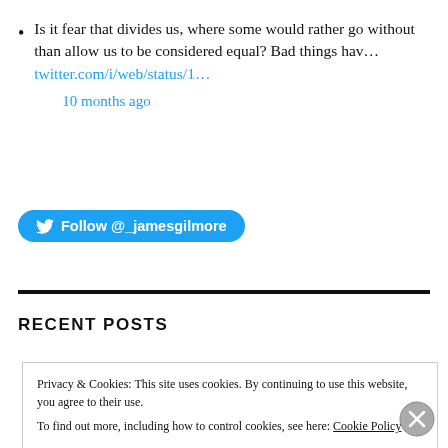Is it fear that divides us, where some would rather go without than allow us to be considered equal? Bad things hav... twitter.com/i/web/status/1... 10 months ago
Follow @_jamesgilmore
RECENT POSTS
Privacy & Cookies: This site uses cookies. By continuing to use this website, you agree to their use. To find out more, including how to control cookies, see here: Cookie Policy